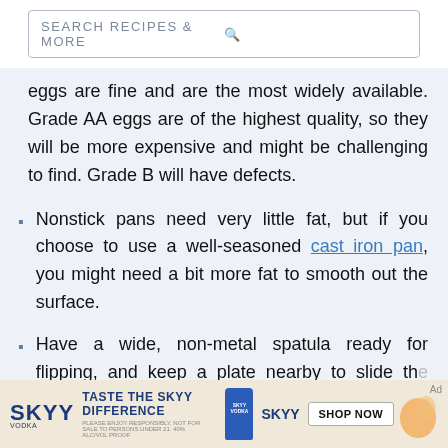SEARCH RECIPES & MORE
eggs are fine and are the most widely available. Grade AA eggs are of the highest quality, so they will be more expensive and might be challenging to find. Grade B will have defects.
Nonstick pans need very little fat, but if you choose to use a well-seasoned cast iron pan, you might need a bit more fat to smooth out the surface.
Have a wide, non-metal spatula ready for flipping, and keep a plate nearby to slide the omelet onto once it is done.
[Figure (other): SKYY Vodka advertisement banner with bottle image, tagline 'TASTE THE SKYY DIFFERENCE' and 'SHOP NOW' button]